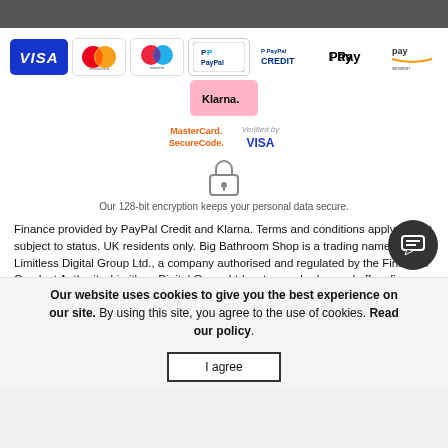[Figure (other): Payment method logos: Visa, Mastercard, Maestro, PayPal, PayPal Credit, Apple Pay, Amazon Pay, Klarna; security badges: MasterCard SecureCode, Verified by Visa, padlock icon]
Our 128-bit encryption keeps your personal data secure.
Finance provided by PayPal Credit and Klarna. Terms and conditions apply. Credit subject to status. UK residents only. Big Bathroom Shop is a trading name of Limitless Digital Group Ltd., a company authorised and regulated by the Financial Conduct Authority. Limitless Digital Group Ltd. acts as a broker and offers finance from a restricted range of finance providers. PayPal Credit is trading name of PayPal (Europe) S.à r.l. et Cie, S.C.A. Société en Commandite par Actions Registered Office: 22-24 Boulevard Royal L-2449, Luxembourg RCS Luxembourg B 118 349. Representative Example of the typical costs of using a PayPal Credit limit, without using promotional offers: Assumed Credit Limit £1 200. Purchase rate 21.9% p.a.
Our website uses cookies to give you the best experience on our site. By using this site, you agree to the use of cookies. Read our policy.
I agree